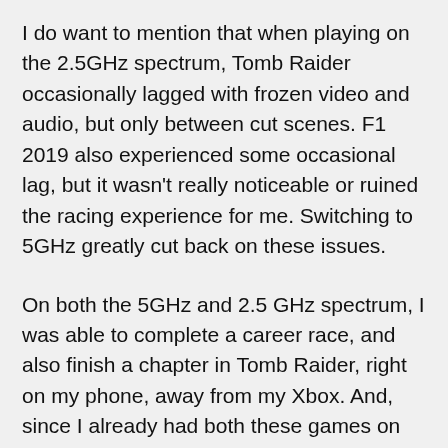I do want to mention that when playing on the 2.5GHz spectrum, Tomb Raider occasionally lagged with frozen video and audio, but only between cut scenes. F1 2019 also experienced some occasional lag, but it wasn't really noticeable or ruined the racing experience for me. Switching to 5GHz greatly cut back on these issues.
On both the 5GHz and 2.5 GHz spectrum, I was able to complete a career race, and also finish a chapter in Tomb Raider, right on my phone, away from my Xbox. And, since I already had both these games on my Xbox, xCloud was able to sync up with my game saves. It really was a mind-bending experience as this was all being done over the